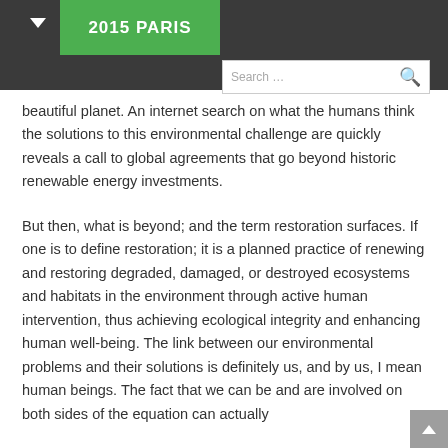2015 PARIS
beautiful planet. An internet search on what the humans think the solutions to this environmental challenge are quickly reveals a call to global agreements that go beyond historic renewable energy investments.
But then, what is beyond; and the term restoration surfaces. If one is to define restoration; it is a planned practice of renewing and restoring degraded, damaged, or destroyed ecosystems and habitats in the environment through active human intervention, thus achieving ecological integrity and enhancing human well-being. The link between our environmental problems and their solutions is definitely us, and by us, I mean human beings. The fact that we can be and are involved on both sides of the equation can actually